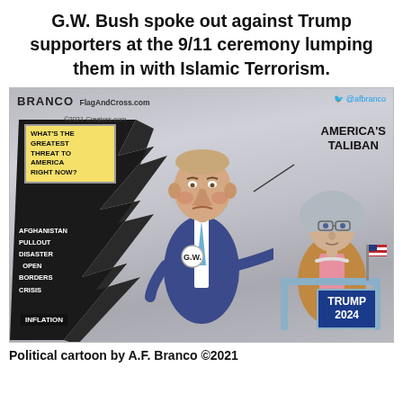G.W. Bush spoke out against Trump supporters at the 9/11 ceremony lumping them in with Islamic Terrorism.
[Figure (illustration): Political cartoon by A.F. Branco (©2021, FlagAndCross.com, Creators.com). Shows G.W. Bush pointing at an elderly woman at a Trump 2024 podium, labeling her 'America's Taliban'. On the left is a black jagged speech-scroll listing: Afghanistan Pullout Disaster, Open Borders Crisis, Inflation — with a yellow sign asking 'What's the Greatest Threat to America Right Now?'. Twitter handle @afbranco shown top right.]
Political cartoon by A.F. Branco ©2021